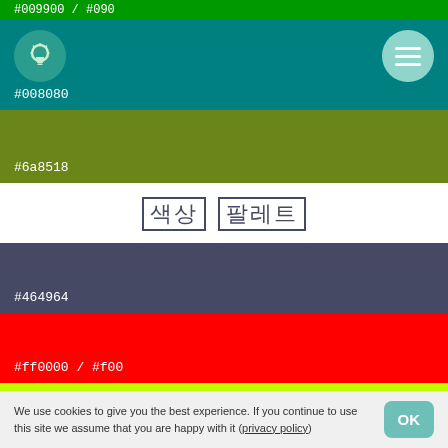#009900 / #090
[Figure (infographic): Teal header bar with a circular lightbulb icon on the left and a circular hamburger menu button on the right, labeled #008080]
[Figure (infographic): Olive/army green color swatch labeled #6a8518]
색상 팔레트
[Figure (infographic): Slate/dark blue-grey color swatch labeled #464964]
[Figure (infographic): Red color swatch labeled #ff0000 / #f00]
[Figure (infographic): Chartreuse/yellow-green color swatch labeled #bfff00]
[Figure (infographic): Blue color swatch labeled #0080ff]
We use cookies to give you the best experience. If you continue to use this site we assume that you are happy with it (privacy policy)